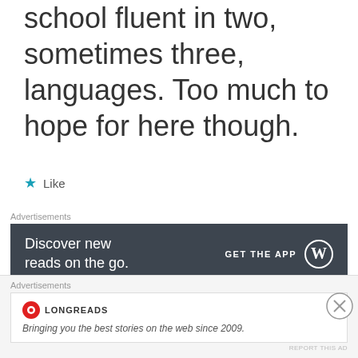school fluent in two, sometimes three, languages. Too much to hope for here though.
★ Like
Advertisements
[Figure (screenshot): Dark banner advertisement: 'Discover new reads on the go. GET THE APP' with WordPress logo]
REPORT THIS AD
[Figure (logo): Blue diamond/snowflake pattern avatar for Niculina McClanahan]
Niculina McClanahan
Advertisements
[Figure (screenshot): Longreads advertisement: 'Bringing you the best stories on the web since 2009.']
REPORT THIS AD